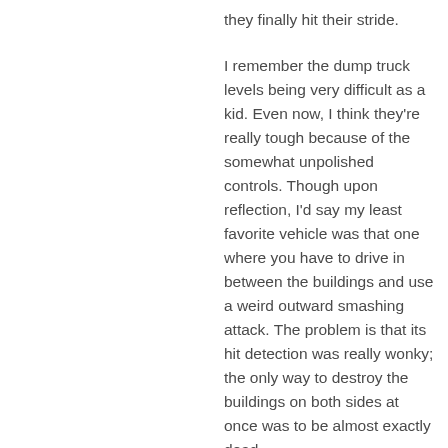they finally hit their stride.
I remember the dump truck levels being very difficult as a kid. Even now, I think they're really tough because of the somewhat unpolished controls. Though upon reflection, I'd say my least favorite vehicle was that one where you have to drive in between the buildings and use a weird outward smashing attack. The problem is that its hit detection was really wonky; the only way to destroy the buildings on both sides at once was to be almost exactly dead